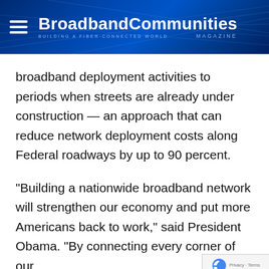BroadbandCommunities MAGAZINE — BUILDING A FIBER-CONNECTED WORLD
broadband deployment activities to periods when streets are already under construction — an approach that can reduce network deployment costs along Federal roadways by up to 90 percent.
"Building a nationwide broadband network will strengthen our economy and put more Americans back to work," said President Obama. "By connecting every corner of our